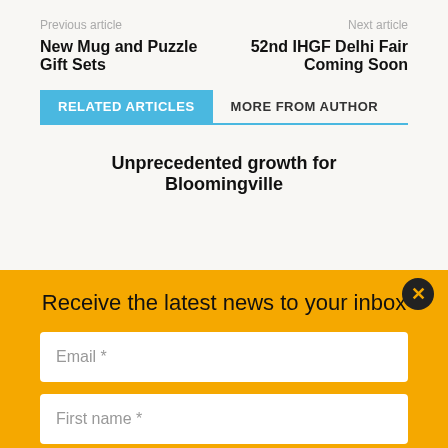Previous article | Next article
New Mug and Puzzle Gift Sets    52nd IHGF Delhi Fair Coming Soon
RELATED ARTICLES   MORE FROM AUTHOR
Unprecedented growth for Bloomingville
Receive the latest news to your inbox
Email *
First name *